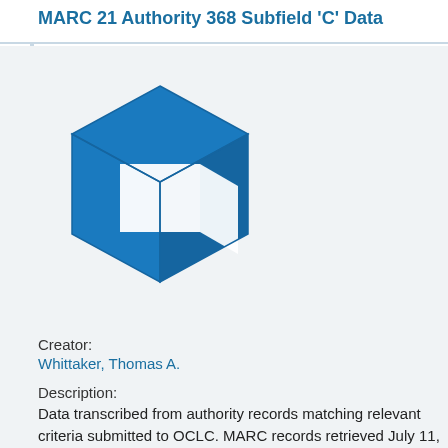MARC 21 Authority 368 Subfield 'C' Data
[Figure (illustration): Blue 3D cube icon representing a dataset or resource]
Creator:
Whittaker, Thomas A.
Description:
Data transcribed from authority records matching relevant criteria submitted to OCLC. MARC records retrieved July 11, 2... OCLC Connexion Client. Data entry completed September, 1... Data entered in exact transcription, retaining any errors or t...